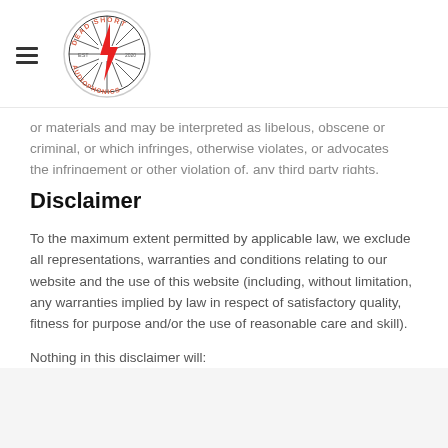[Figure (logo): Dead Short Audiophonics circular logo with a red lightning bolt in the center, compass-style spokes, and text around the border reading DEAD SHORT EST and AUDIOPHONICS]
or materials and may be interpreted as libelous, obscene or criminal, or which infringes, otherwise violates, or advocates the infringement or other violation of, any third party rights.
Disclaimer
To the maximum extent permitted by applicable law, we exclude all representations, warranties and conditions relating to our website and the use of this website (including, without limitation, any warranties implied by law in respect of satisfactory quality, fitness for purpose and/or the use of reasonable care and skill).
Nothing in this disclaimer will: